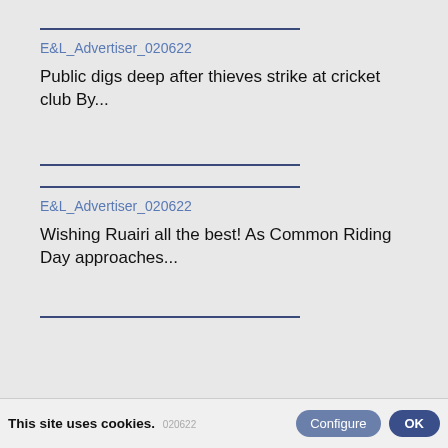E&L_Advertiser_020622
Public digs deep after thieves strike at cricket club By...
E&L_Advertiser_020622
Wishing Ruairi all the best! As Common Riding Day approaches...
This site uses cookies.   Configure   OK